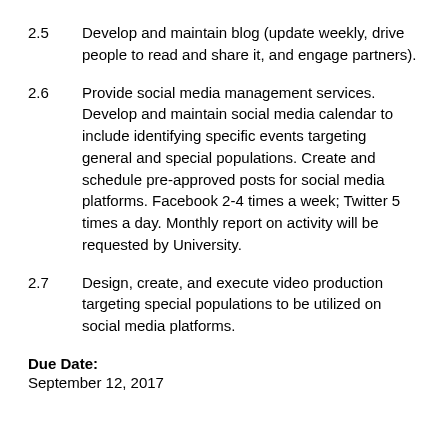2.5	Develop and maintain blog (update weekly, drive people to read and share it, and engage partners).
2.6	Provide social media management services. Develop and maintain social media calendar to include identifying specific events targeting general and special populations. Create and schedule pre-approved posts for social media platforms. Facebook 2-4 times a week; Twitter 5 times a day. Monthly report on activity will be requested by University.
2.7	Design, create, and execute video production targeting special populations to be utilized on social media platforms.
Due Date:
September 12, 2017